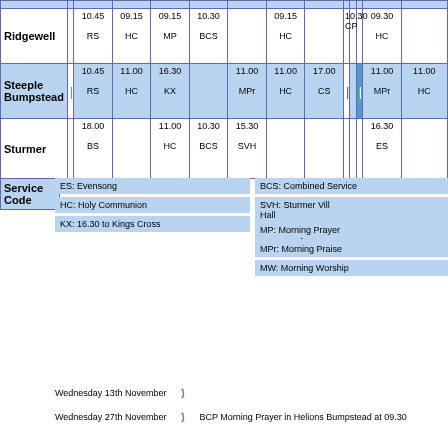| Location |  | Col1 | Col2 | Col3 | Col4 | Col5 | Col6 | Col7 | Col8 | Col9 | Col10 | Col11 | Col12 |
| --- | --- | --- | --- | --- | --- | --- | --- | --- | --- | --- | --- | --- | --- |
| Ridgewell |  | 10.45
RS | 09.15
HC | 09.15
MP | 10.30
BCS |  | 09.15
HC |  | 10.30
CP |  |  | 09.30
HC |  |
| Steeple Bumpstead | | | 10.45
RS | 11.00
HC | 16.30
KX |  | 11.00
MPr | 11.00
HC | 17.00
CS | | |  | | | 11.00
MPr | 11.00
HC |
| Sturmer |  | 18.00
BS |  | 11.00
HC | 10.30
BCS | 15.30
SVH |  |  |  |  |  | 16.30
ES |  |
ES: Evensong
HC: Holy Communion
KX: 16.30 to Kings Cross
MP: Morning Prayer
MPr: Morning Praise
MW: Morning Worship
BCS: Combined Service
SVH: Sturmer Village Hall
MC: Messy Church
Wednesday 13th November    }
Wednesday 27th November    }    BCP Morning Prayer in Helions Bumpstead at 09.30